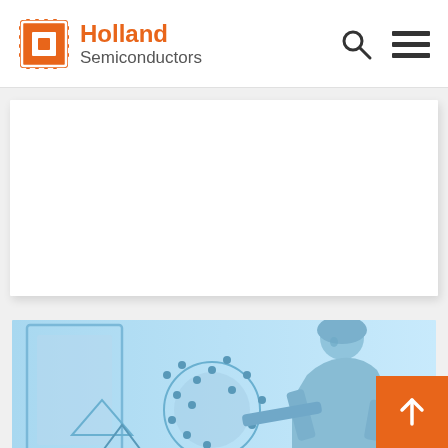Holland Semiconductors
Read more
[Figure (photo): Semiconductor lab technician in cleanroom working with semiconductor equipment, blue-toned image]